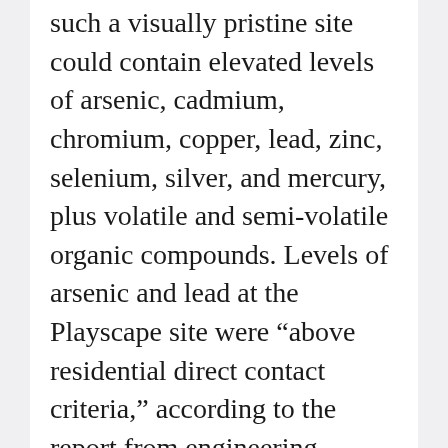such a visually pristine site could contain elevated levels of arsenic, cadmium, chromium, copper, lead, zinc, selenium, silver, and mercury, plus volatile and semi-volatile organic compounds. Levels of arsenic and lead at the Playscape site were “above residential direct contact criteria,” according to the report from engineering consultants at the Ann Arbor office of Tetra Tech.
Susan Westhoff, LSNC’s executive director, says that the center’s office, the Leslie